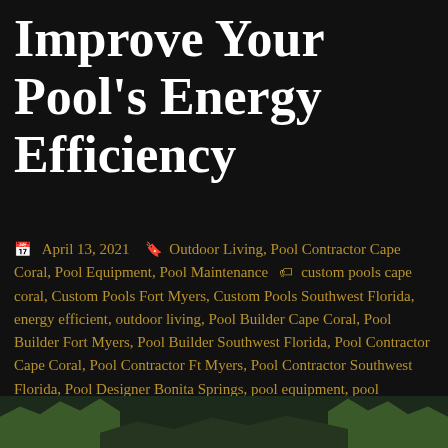Improve Your Pool’s Energy Efficiency
📅 April 13, 2021  🔖 Outdoor Living, Pool Contractor Cape Coral, Pool Equipment, Pool Maintenance  🏷 custom pools cape coral, Custom Pools Fort Myers, Custom Pools Southwest Florida, energy efficient, outdoor living, Pool Builder Cape Coral, Pool Builder Fort Myers, Pool Builder Southwest Florida, Pool Contractor Cape Coral, Pool Contractor Ft Myers, Pool Contractor Southwest Florida, Pool Designer Bonita Springs, pool equipment, pool equipment maintenance
[Figure (photo): Bottom strip showing lush green tropical foliage/plants with a dark background, appears to be an outdoor pool area surrounded by greenery.]